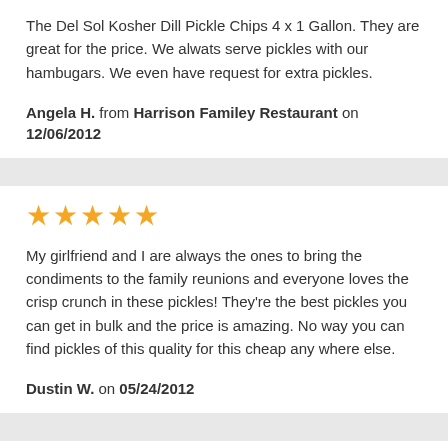The Del Sol Kosher Dill Pickle Chips 4 x 1 Gallon. They are great for the price. We alwats serve pickles with our hambugars. We even have request for extra pickles.
Angela H. from Harrison Familey Restaurant on 12/06/2012
[Figure (other): 5 gold stars rating]
My girlfriend and I are always the ones to bring the condiments to the family reunions and everyone loves the crisp crunch in these pickles! They're the best pickles you can get in bulk and the price is amazing. No way you can find pickles of this quality for this cheap any where else.
Dustin W. on 05/24/2012
[Figure (other): 5 gold stars rating]